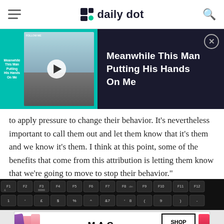daily dot
[Figure (screenshot): Video player banner showing 'Meanwhile This Man Putting His Hands On Me' with teal background and dark overlay]
to apply pressure to change their behavior. It's nevertheless important to call them out and let them know that it's them and we know it's them. I think at this point, some of the benefits that come from this attribution is letting them know that we're going to move to stop their behavior."
[Figure (photo): Keyboard showing function keys F1 through F12 and number row on black keyboard]
[Figure (other): MAC cosmetics advertisement with lipsticks and SHOP NOW button]